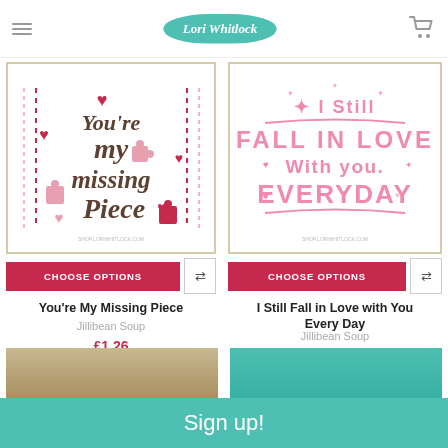Lori Whitlock
[Figure (illustration): Product image: You're My Missing Piece SVG design with hearts and puzzle pieces on white background with tan border]
CHOOSE OPTIONS
You're My Missing Piece
Jillibean Soup
£1.26
[Figure (illustration): Product image: I Still Fall in Love with You Everyday SVG design in pink text on white background with tan border]
CHOOSE OPTIONS
I Still Fall in Love with You Every Day
Jillibean Soup
£1.26
[Figure (illustration): Partial product images visible at bottom]
Sign up!